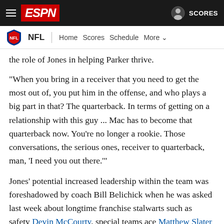ESPN | NFL | Home | Scores | Schedule | More | SCORES
the role of Jones in helping Parker thrive.
"When you bring in a receiver that you need to get the most out of, you put him in the offense, and who plays a big part in that? The quarterback. In terms of getting on a relationship with this guy ... Mac has to become that quarterback now. You're no longer a rookie. Those conversations, the serious ones, receiver to quarterback, man, 'I need you out there.'"
Jones' potential increased leadership within the team was foreshadowed by coach Bill Belichick when he was asked last week about longtime franchise stalwarts such as safety Devin McCourty, special teams ace Matthew Slater and running back James White returning in 2022 as they near the end of their